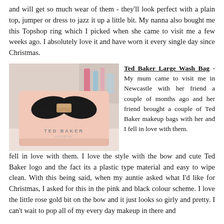and will get so much wear of them - they'll look perfect with a plain top, jumper or dress to jazz it up a little bit. My nanna also bought me this Topshop ring which I picked when she came to visit me a few weeks ago. I absolutely love it and have worn it every single day since Christmas.
[Figure (photo): Photo of a pink Ted Baker Large Wash Bag with a black velvet bow with rose gold detail, sitting on a white surface with a blurred background showing makeup items.]
Ted Baker Large Wash Bag - My mum came to visit me in Newcastle with her friend a couple of months ago and her friend brought a couple of Ted Baker makeup bags with her and I fell in love with them. I love the style with the bow and cute Ted Baker logo and the fact its a plastic type material and easy to wipe clean. With this being said, when my auntie asked what I'd like for Christmas, I asked for this in the pink and black colour scheme. I love the little rose gold bit on the bow and it just looks so girly and pretty. I can't wait to pop all of my every day makeup in there and